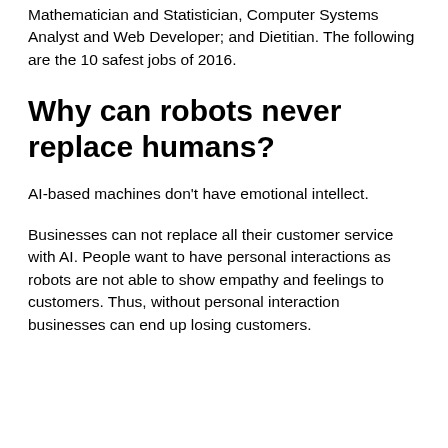Mathematician and Statistician, Computer Systems Analyst and Web Developer; and Dietitian. The following are the 10 safest jobs of 2016.
Why can robots never replace humans?
AI-based machines don't have emotional intellect.
Businesses can not replace all their customer service with AI. People want to have personal interactions as robots are not able to show empathy and feelings to customers. Thus, without personal interaction businesses can end up losing customers.